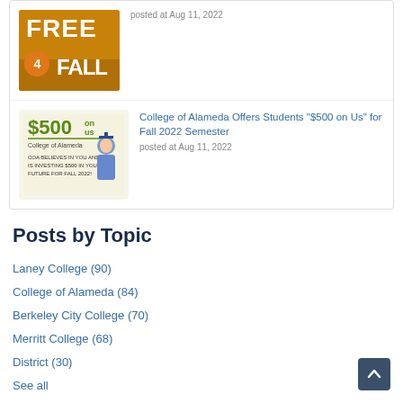[Figure (illustration): Thumbnail image for Free 4 Fall article – orange background with 'FREE 4 FALL' text and a number 4 in an orange circle]
posted at Aug 11, 2022
[Figure (illustration): Thumbnail for $500 on Us article – shows '$500 on us / College of Alameda' text and a graduating student in cap and gown]
College of Alameda Offers Students "$500 on Us" for Fall 2022 Semester
posted at Aug 11, 2022
Posts by Topic
Laney College (90)
College of Alameda (84)
Berkeley City College (70)
Merritt College (68)
District (30)
See all